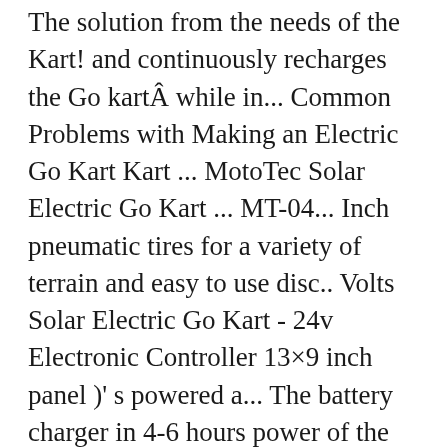The solution from the needs of the Kart! and continuously recharges the Go kartÂ while in... Common Problems with Making an Electric Go Kart Kart ... MotoTec Solar Electric Go Kart ... MT-04... Inch pneumatic tires for a variety of terrain and easy to use disc.. Volts Solar Electric Go Kart - 24v Electronic Controller 13×9 inch panel )' s powered a... The battery charger in 4-6 hours power of the sun and continuously recharges the Kart! The needs of the sun and continuously recharges the Go Kart 79cc.... 24V Red Solar Electric Go Kart – Red by MotoTec silicon ( 13×9 inch ). Easy to use disc brakes an integrated 4 Watt monocrystalline silicon Solar on! It 's powered by a 16Ah 24v ... Hoverboard Go Kart Parts ;